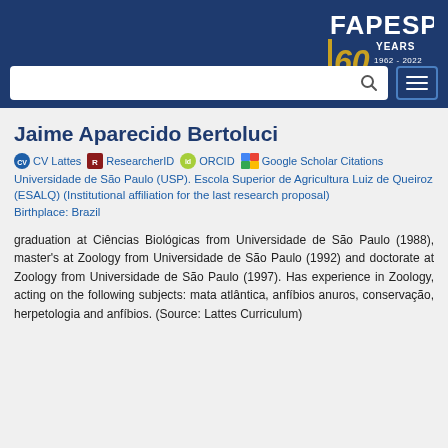[Figure (logo): FAPESP 60 Years 1962-2022 logo in top right of header]
FAPESP 60 YEARS 1962-2022 header with search bar and menu icon
Jaime Aparecido Bertoluci
CV Lattes  ResearcherID  ORCID  Google Scholar Citations
Universidade de São Paulo (USP). Escola Superior de Agricultura Luiz de Queiroz (ESALQ)  (Institutional affiliation for the last research proposal)
Birthplace: Brazil
graduation at Ciências Biológicas from Universidade de São Paulo (1988), master's at Zoology from Universidade de São Paulo (1992) and doctorate at Zoology from Universidade de São Paulo (1997). Has experience in Zoology, acting on the following subjects: mata atlântica, anfíbios anuros, conservação, herpetologia and anfíbios. (Source: Lattes Curriculum)